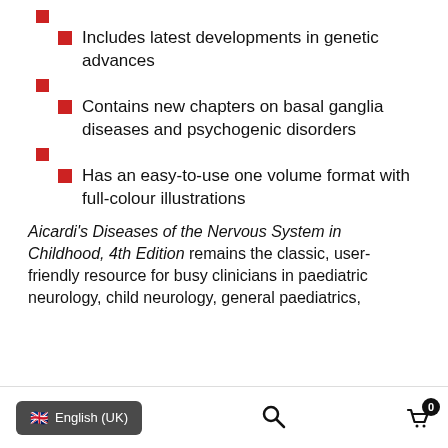Includes latest developments in genetic advances
Contains new chapters on basal ganglia diseases and psychogenic disorders
Has an easy-to-use one volume format with full-colour illustrations
Aicardi’s Diseases of the Nervous System in Childhood, 4th Edition remains the classic, user-friendly resource for busy clinicians in paediatric neurology, child neurology, general paediatrics,
English (UK)  0